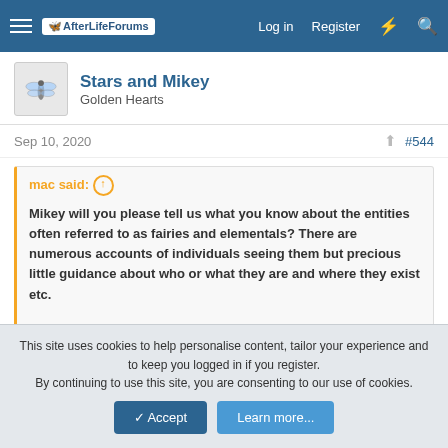AfterLifeForums — Log in | Register
Stars and Mikey
Golden Hearts
Sep 10, 2020 #544
mac said: ↑
Mikey will you please tell us what you know about the entities often referred to as fairies and elementals? There are numerous accounts of individuals seeing them but precious little guidance about who or what they are and where they exist etc.

Your help will be much appreciated. 🙂
Hi Mac,
Mikey tells me everything is energy (which he keeps constantly
This site uses cookies to help personalise content, tailor your experience and to keep you logged in if you register.
By continuing to use this site, you are consenting to our use of cookies.